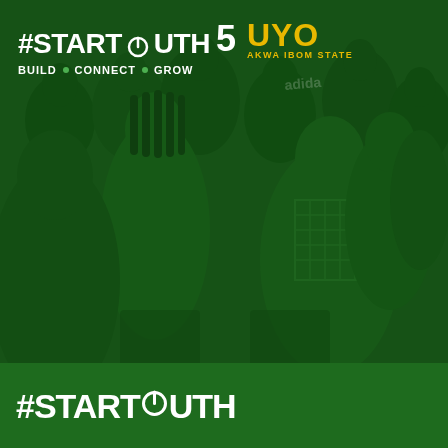[Figure (photo): Green-tinted photo of crowd/audience at a startup event, people seated facing forward, dark green overlay over the image]
#STARTUPSOUTH5 UYO AKWA IBOM STATE
BUILD • CONNECT • GROW
#STARTUPSOUTH